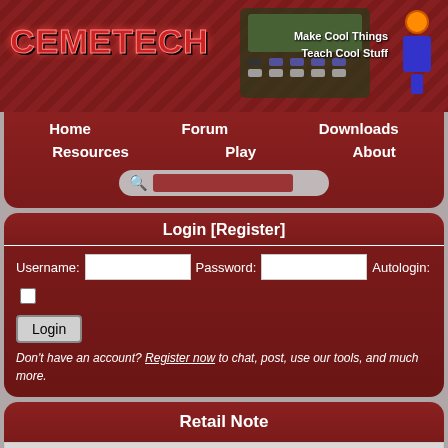[Figure (screenshot): Cemetech website banner with logo, calculator image, lego knight figure, and tagline 'Make Cool Things Teach Cool Stuff']
Home  Forum  Downloads  Resources  Play  About
Login [Register]
Username: [input] Password: [input] Autologin: [checkbox] Login  Don't have an account? Register now to chat, post, use our tools, and much more.
Retail Note
» Forum > FreeBuild & LEGO
reply to topic
»
» View previous topic :: View next topic